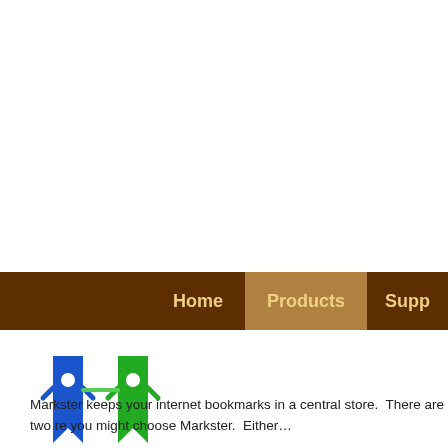[Figure (logo): Markster logo showing two bookmark figures, one blue and one green, standing side by side on a brown base]
Markster keeps your internet bookmarks in a central store.  There are two re you might choose Markster.  Either…